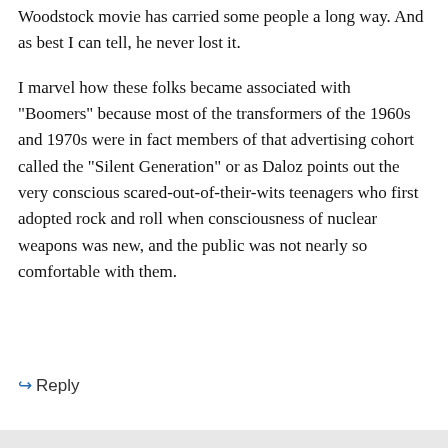saved the other, don't they. The short climb in the Woodstock movie has carried some people a long way. And as best I can tell, he never lost it.
I marvel how these folks became associated with “Boomers” because most of the transformers of the 1960s and 1970s were in fact members of that advertising cohort called the “Silent Generation” or as Daloz points out the very conscious scared-out-of-their-wits teenagers who first adopted rock and roll when consciousness of nuclear weapons was new, and the public was not nearly so comfortable with them.
↪ Reply